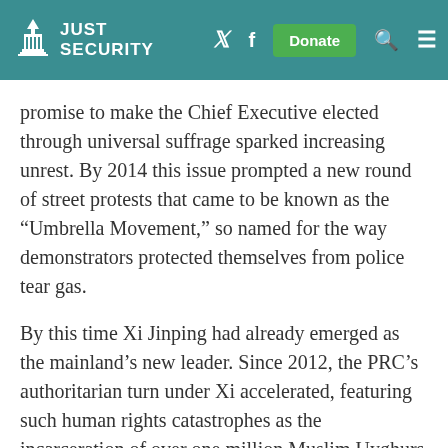Just Security
promise to make the Chief Executive elected through universal suffrage sparked increasing unrest. By 2014 this issue prompted a new round of street protests that came to be known as the “Umbrella Movement,” so named for the way demonstrators protected themselves from police tear gas.
By this time Xi Jinping had already emerged as the mainland’s new leader. Since 2012, the PRC’s authoritarian turn under Xi accelerated, featuring such human rights catastrophes as the incarceration of over one million Muslim Uyghurs in Xinjiang. In time, this tightening